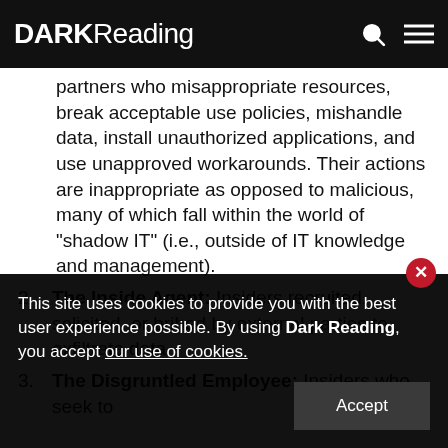DARKReading
partners who misappropriate resources, break acceptable use policies, mishandle data, install unauthorized applications, and use unapproved workarounds. Their actions are inappropriate as opposed to malicious, many of which fall within the world of "shadow IT" (i.e., outside of IT knowledge and management).
2. The Inside Agent: Insiders recruited, solicited, or bribed by external parties to exfiltrate data.
3. The Disgruntled Employee: Insiders who seek to
This site uses cookies to provide you with the best user experience possible. By using Dark Reading, you accept our use of cookies.